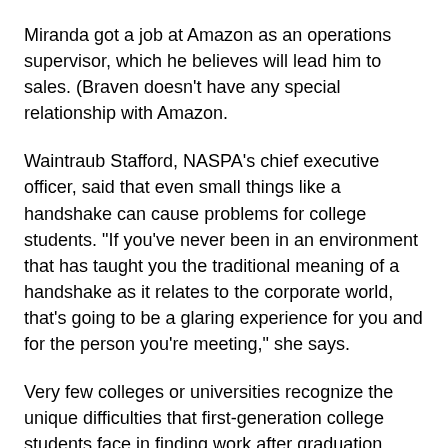Miranda got a job at Amazon as an operations supervisor, which he believes will lead him to sales. (Braven doesn't have any special relationship with Amazon.
Waintraub Stafford, NASPA's chief executive officer, said that even small things like a handshake can cause problems for college students. "If you've never been in an environment that has taught you the traditional meaning of a handshake as it relates to the corporate world, that's going to be a glaring experience for you and for the person you're meeting," she says.
Very few colleges or universities recognize the unique difficulties that first-generation college students face in finding work after graduation.